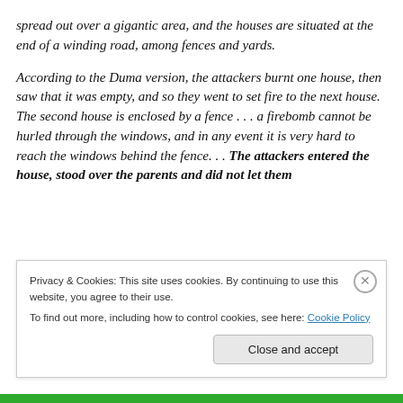spread out over a gigantic area, and the houses are situated at the end of a winding road, among fences and yards.
According to the Duma version, the attackers burnt one house, then saw that it was empty, and so they went to set fire to the next house. The second house is enclosed by a fence . . . a firebomb cannot be hurled through the windows, and in any event it is very hard to reach the windows behind the fence. . . The attackers entered the house, stood over the parents and did not let them
Privacy & Cookies: This site uses cookies. By continuing to use this website, you agree to their use.
To find out more, including how to control cookies, see here: Cookie Policy